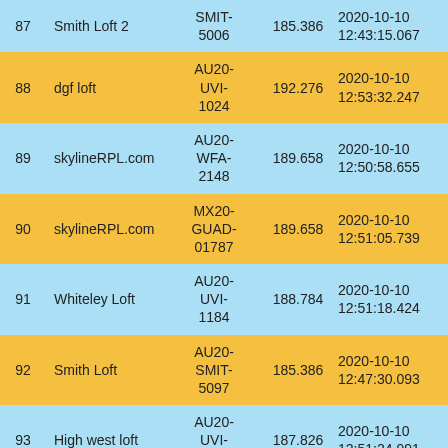| # | Name | Code | Score | Date/Time |  |
| --- | --- | --- | --- | --- | --- |
| 87 | Smith Loft 2 | SMIT-5006 | 185.386 | 2020-10-10 12:43:15.067 | 11 |
| 88 | dgf loft | AU20-UVI-1024 | 192.276 | 2020-10-10 12:53:32.247 | 11 |
| 89 | skylineRPL.com | AU20-WFA-2148 | 189.658 | 2020-10-10 12:50:58.655 | 11 |
| 90 | skylineRPL.com | MX20-GUAD-01787 | 189.658 | 2020-10-10 12:51:05.739 | 11 |
| 91 | Whiteley Loft | AU20-UVI-1184 | 188.784 | 2020-10-10 12:51:18.424 | 11 |
| 92 | Smith Loft | AU20-SMIT-5097 | 185.386 | 2020-10-10 12:47:30.093 | 11 |
| 93 | High west loft | AU20-UVI-0644 | 187.826 | 2020-10-10 12:51:24.991 | 11 |